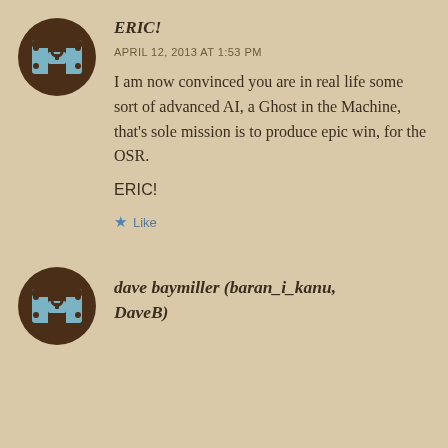[Figure (illustration): Avatar icon: dark brown circle with a pixel-art style game controller or chest graphic in teal/brown]
ERIC!
APRIL 12, 2013 AT 1:53 PM
I am now convinced you are in real life some sort of advanced AI, a Ghost in the Machine, that's sole mission is to produce epic win, for the OSR.
ERIC!
Like
[Figure (illustration): Avatar icon: dark brown circle with a pixel-art style game controller or chest graphic in teal/brown]
dave baymiller (baran_i_kanu, DaveB)